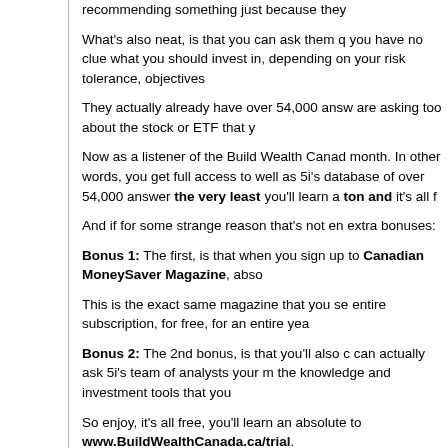recommending something just because they
What's also neat, is that you can ask them q you have no clue what you should invest in, depending on your risk tolerance, objectives
They actually already have over 54,000 answ are asking too about the stock or ETF that y
Now as a listener of the Build Wealth Canad month. In other words, you get full access to well as 5i's database of over 54,000 answer the very least you'll learn a ton and it's all f
And if for some strange reason that's not en extra bonuses:
Bonus 1: The first, is that when you sign up to Canadian MoneySaver Magazine, abso
This is the exact same magazine that you se entire subscription, for free, for an entire yea
Bonus 2: The 2nd bonus, is that you'll also c can actually ask 5i's team of analysts your m the knowledge and investment tools that you
So enjoy, it's all free, you'll learn an absolute to www.BuildWealthCanada.ca/trial.
In Closing:
If you enjoyed the episode, please take a me "View in iTunes" button at this link.
If you have any tips, suggestions or commer responses and look forward to hearing from
Have a great week